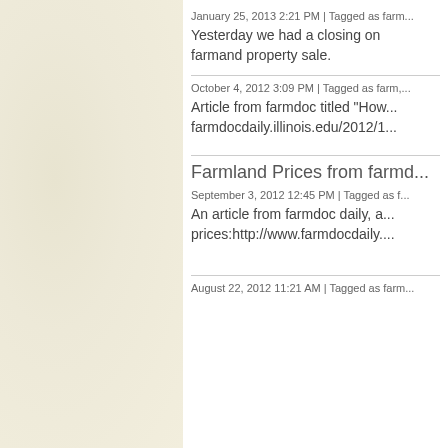January 25, 2013 2:21 PM | Tagged as farm...
Yesterday we had a closing on farmand property sale.
October 4, 2012 3:09 PM | Tagged as farm,...
Article from farmdoc titled "How... farmdocdaily.illinois.edu/2012/1...
Farmland Prices from farmd...
September 3, 2012 12:45 PM | Tagged as f...
An article from farmdoc daily, a... prices:http://www.farmdocdaily....
August 22, 2012 11:21 AM | Tagged as farm...